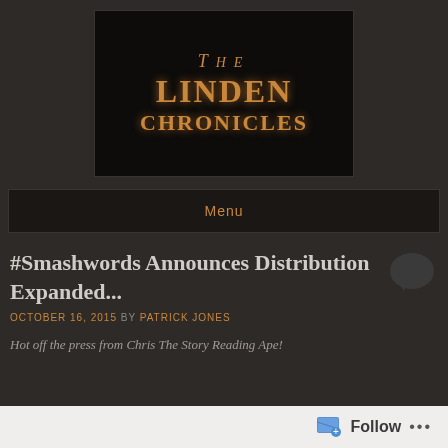[Figure (logo): The Linden Chronicles blog logo — dark background with orange gothic-style text reading THE LINDEN CHRONICLES]
Menu
#Smashwords Announces Distribution Expanded...
OCTOBER 16, 2015 BY PATRICK JONES
Hot off the press from Chris The Story Reading Ape!
Follow ...